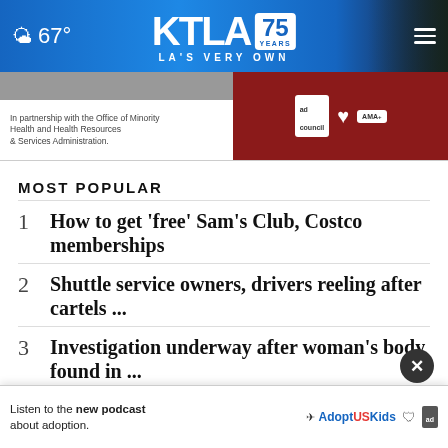67° KTLA 75 YEARS LA'S VERY OWN
[Figure (screenshot): Advertisement banner: In partnership with the Office of Minority Health and Health Resources & Services Administration. Contains ad, heart, and AMA logos on dark red background.]
MOST POPULAR
1 How to get 'free' Sam's Club, Costco memberships
2 Shuttle service owners, drivers reeling after cartels ...
3 Investigation underway after woman's body found in ...
4 California Governor ...es'-i...
[Figure (screenshot): Bottom advertisement: Listen to the new podcast about adoption. AdoptUSKids logo and ad badge.]